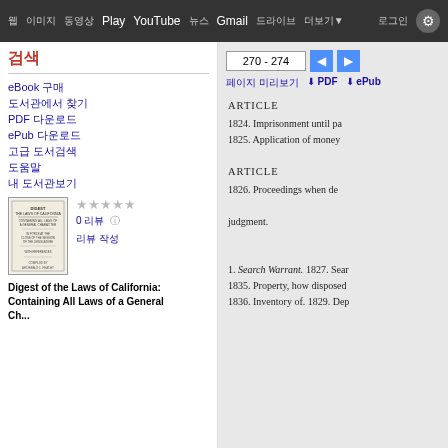웹 검색 이미지 Play YouTube 뉴스 Gmail 드라이브 더보기 로그인 설정
검색
270 - 274
eBook 구매
도서관에서 찾기
PDF 다운로드
ePub 다운로드
고급 도서검색
도움말
내 도서관보기
0 리뷰 리뷰 작성
Digest of the Laws of California: Containing All Laws of a General Ch...
ARTICLE
1824. Imprisonment until pa
1825. Application of money

ARTICLE
1826. Proceedings when de

judgment.

1. Search Warrant. 1827. Sear
1835. Property, how disposed
1836. Inventory of. 1829. Dep